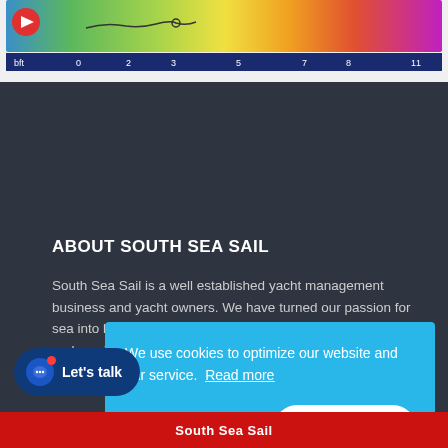[Figure (infographic): Wind speed Beaufort scale chart with colored gradient bar (green to red) and scale markings: bft, 0, 2, 3, 5, 7, 8, 11]
ABOUT SOUTH SEA SAIL
South Sea Sail is a well established yacht management business and yacht owners. We have turned our passion for sea into business and our goal is to provide high quality yachts and services.
We use cookies to optimize our website and our service.  Read more
Functional only
ACCEPT ALL
Let's talk
South Sea Sail